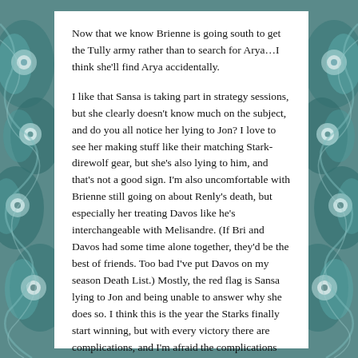Now that we know Brienne is going south to get the Tully army rather than to search for Arya…I think she'll find Arya accidentally.
I like that Sansa is taking part in strategy sessions, but she clearly doesn't know much on the subject, and do you all notice her lying to Jon? I love to see her making stuff like their matching Stark-direwolf gear, but she's also lying to him, and that's not a good sign. I'm also uncomfortable with Brienne still going on about Renly's death, but especially her treating Davos like he's interchangeable with Melisandre. (If Bri and Davos had some time alone together, they'd be the best of friends. Too bad I've put Davos on my season Death List.) Mostly, the red flag is Sansa lying to Jon and being unable to answer why she does so. I think this is the year the Starks finally start winning, but with every victory there are complications, and I'm afraid the complications will be at least partly caused by Sansa failing to communicate with Jon.